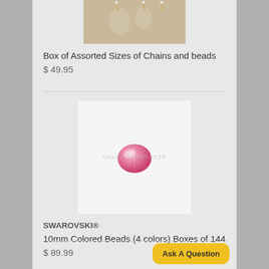[Figure (photo): Photo of chains and beads jewelry pieces on a beige/brown background]
Box of Assorted Sizes of Chains and beads
$ 49.95
[Figure (photo): Photo of a pink Swarovski crystal bead on a white background with watermark text]
SWAROVSKI®
10mm Colored Beads (4 colors) Boxes of 144
$ 89.99
Ask A Question